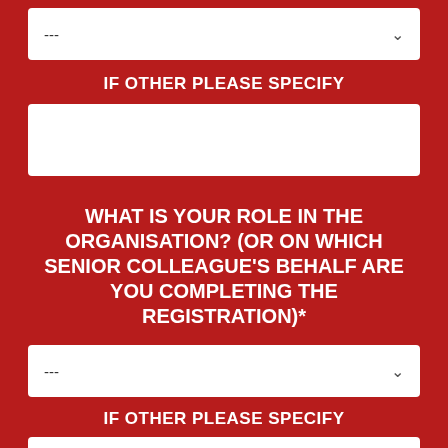--- (dropdown)
IF OTHER PLEASE SPECIFY
(text input box)
WHAT IS YOUR ROLE IN THE ORGANISATION? (OR ON WHICH SENIOR COLLEAGUE'S BEHALF ARE YOU COMPLETING THE REGISTRATION)*
--- (dropdown)
IF OTHER PLEASE SPECIFY
(text input box, partial)